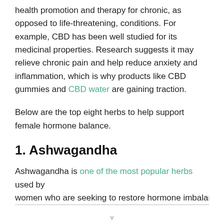health promotion and therapy for chronic, as opposed to life-threatening, conditions. For example, CBD has been well studied for its medicinal properties. Research suggests it may relieve chronic pain and help reduce anxiety and inflammation, which is why products like CBD gummies and CBD water are gaining traction.
Below are the top eight herbs to help support female hormone balance.
1. Ashwagandha
Ashwagandha is one of the most popular herbs used by women who are seeking to restore hormone imbalance...
v